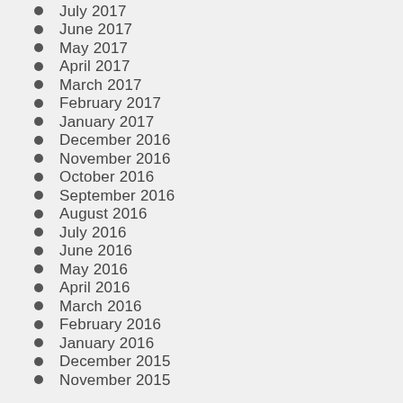July 2017
June 2017
May 2017
April 2017
March 2017
February 2017
January 2017
December 2016
November 2016
October 2016
September 2016
August 2016
July 2016
June 2016
May 2016
April 2016
March 2016
February 2016
January 2016
December 2015
November 2015